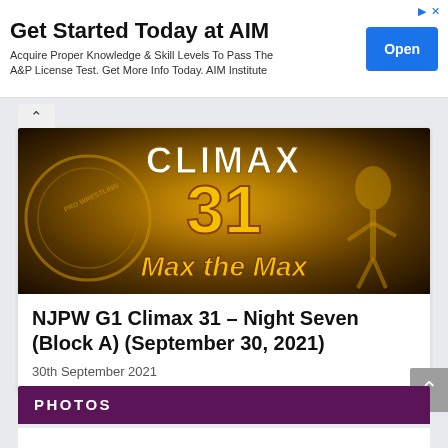[Figure (infographic): Advertisement banner: 'Get Started Today at AIM' with blue Open button. Text: Acquire Proper Knowledge & Skill Levels To Pass The A&P License Test. Get More Info Today. AIM Institute]
[Figure (photo): NJPW G1 Climax 31 Max the Max event promotional image with golden text on dark background]
NJPW G1 Climax 31 – Night Seven (Block A) (September 30, 2021)
30th September 2021
PHOTOS